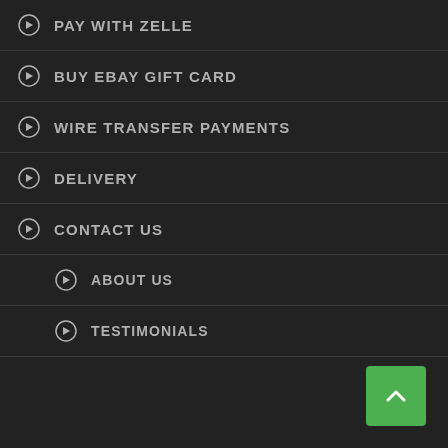PAY WITH ZELLE
BUY EBAY GIFT CARD
WIRE TRANSFER PAYMENTS
DELIVERY
CONTACT US
ABOUT US
TESTIMONIALS
[Figure (other): Green back-to-top button with upward chevron arrow in bottom-right corner]